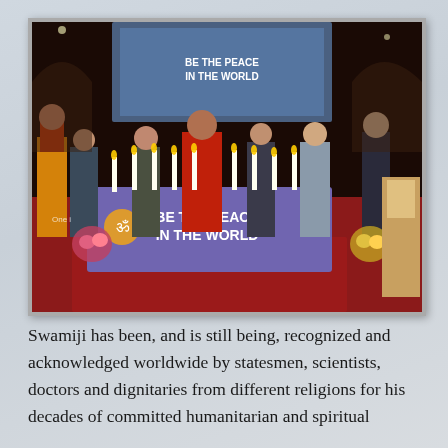[Figure (photo): A stage event with multiple people standing around a table draped in a purple cloth bearing a mandala symbol and the text 'BE THE PEACE IN THE WORLD'. Several white candles are lit on the table. Participants include a man in red and orange robes with hands in prayer, others in formal western attire. Behind them is a large projection screen showing a similar scene. Flower arrangements flank the table. A portrait is visible on a draped table to the right.]
Swamiji has been, and is still being, recognized and acknowledged worldwide by statesmen, scientists, doctors and dignitaries from different religions for his decades of committed humanitarian and spiritual